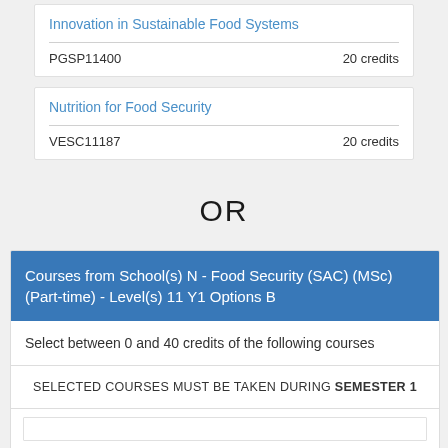Innovation in Sustainable Food Systems
PGSP11400   20 credits
Nutrition for Food Security
VESC11187   20 credits
OR
Courses from School(s) N - Food Security (SAC) (MSc) (Part-time) - Level(s) 11 Y1 Options B
Select between 0 and 40 credits of the following courses
SELECTED COURSES MUST BE TAKEN DURING SEMESTER 1